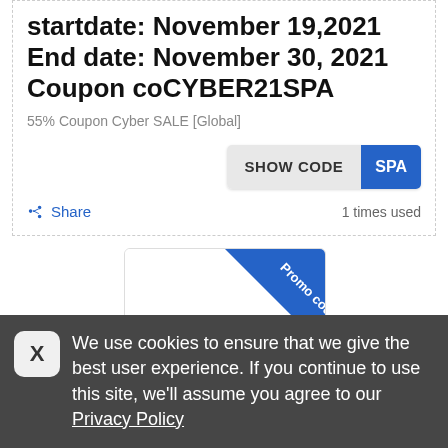startdate: November 19,2021 End date: November 30, 2021 Coupon coCYBER21SPA
55% Coupon Cyber SALE [Global]
[Figure (screenshot): SHOW CODE button with blue SPA label on the right]
Share   1 times used
[Figure (logo): Bayard promo code card with blue diagonal ribbon saying 'Promo code' and bayard logo with yellow smiley dots]
We use cookies to ensure that we give the best user experience. If you continue to use this site, we'll assume you agree to our Privacy Policy